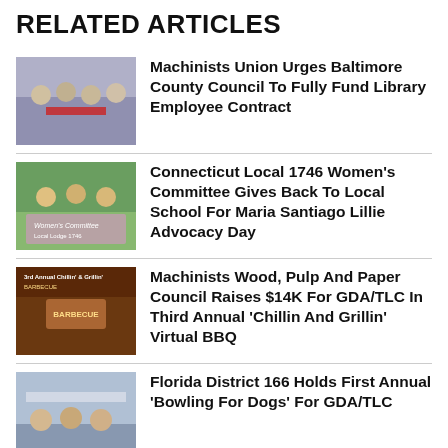RELATED ARTICLES
Machinists Union Urges Baltimore County Council To Fully Fund Library Employee Contract
Connecticut Local 1746 Women's Committee Gives Back To Local School For Maria Santiago Lillie Advocacy Day
Machinists Wood, Pulp And Paper Council Raises $14K For GDA/TLC In Third Annual 'Chillin And Grillin' Virtual BBQ
Florida District 166 Holds First Annual 'Bowling For Dogs' For GDA/TLC
(partially visible article)